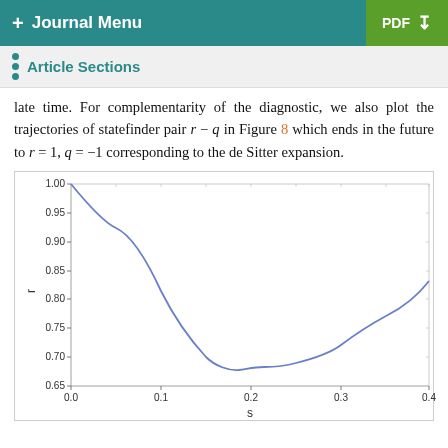+ Journal Menu   PDF
Article Sections
late time. For complementarity of the diagnostic, we also plot the trajectories of statefinder pair r – q in Figure 8 which ends in the future to r = 1, q = –1 corresponding to the de Sitter expansion.
[Figure (continuous-plot): Plot of r vs s. The curve starts near r=1.00 at s=0.0, decreases to a minimum near r=0.65 at s≈0.20, then rises to about r=0.82 at s=0.4. Y-axis labeled 'r', X-axis labeled 's'. Y-axis ticks: 0.65, 0.70, 0.75, 0.80, 0.85, 0.90, 0.95, 1.00. X-axis ticks: 0.0, 0.1, 0.2, 0.3, 0.4.]